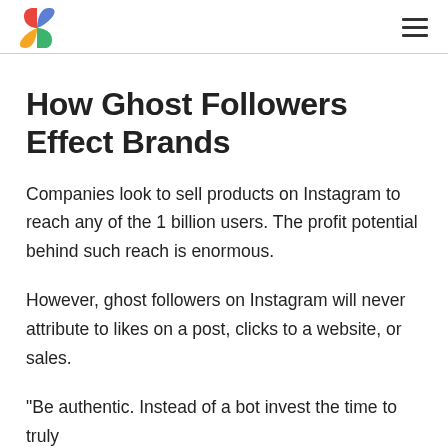[Logo] [Hamburger menu]
How Ghost Followers Effect Brands
Companies look to sell products on Instagram to reach any of the 1 billion users. The profit potential behind such reach is enormous.
However, ghost followers on Instagram will never attribute to likes on a post, clicks to a website, or sales.
“Be authentic. Instead of a bot invest the time to truly